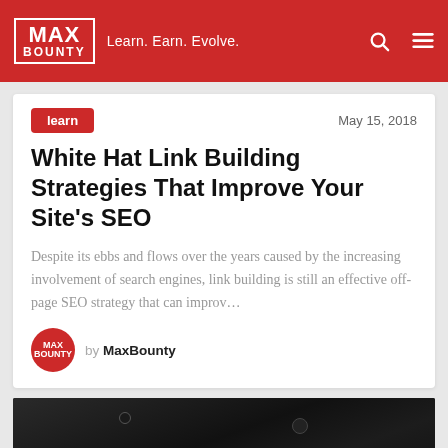MAX BOUNTY — Learn. Earn. Evolve.
learn
May 15, 2018
White Hat Link Building Strategies That Improve Your Site's SEO
Despite its ebbs and flows over the years caused by the increasing involvement of search engines, link building is still an effective off-page SEO strategy that can improv…
by MaxBounty
[Figure (photo): Dark greyscale photo of a studio mixing desk or control surface with knobs]